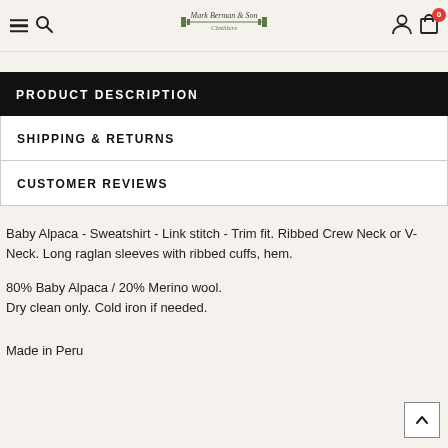Mark Berman & Son Clothiers — navigation header with hamburger, search, logo, account, cart (0)
PRODUCT DESCRIPTION
SHIPPING & RETURNS
CUSTOMER REVIEWS
Baby Alpaca - Sweatshirt - Link stitch - Trim fit. Ribbed Crew Neck or V-Neck. Long raglan sleeves with ribbed cuffs, hem.
80% Baby Alpaca / 20% Merino wool.
Dry clean only. Cold iron if needed.
Made in Peru